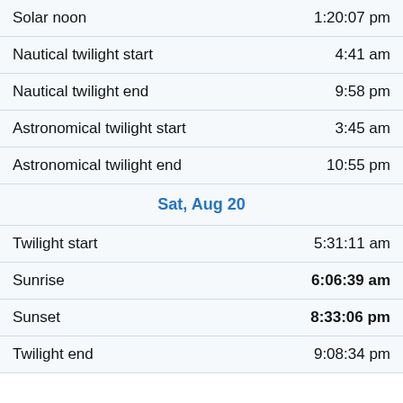| Event | Time |
| --- | --- |
| Solar noon | 1:20:07 pm |
| Nautical twilight start | 4:41 am |
| Nautical twilight end | 9:58 pm |
| Astronomical twilight start | 3:45 am |
| Astronomical twilight end | 10:55 pm |
| Sat, Aug 20 |  |
| Twilight start | 5:31:11 am |
| Sunrise | 6:06:39 am |
| Sunset | 8:33:06 pm |
| Twilight end | 9:08:34 pm |